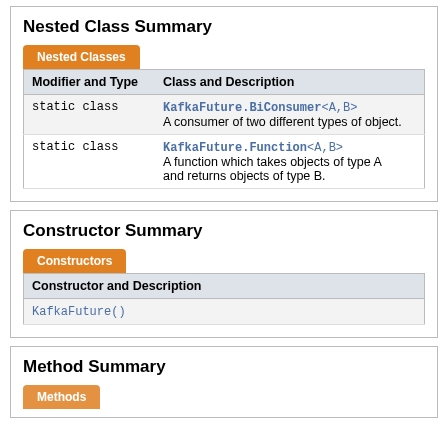Nested Class Summary
| Modifier and Type | Class and Description |
| --- | --- |
| static class | KafkaFuture.BiConsumer<A,B>
A consumer of two different types of object. |
| static class | KafkaFuture.Function<A,B>
A function which takes objects of type A and returns objects of type B. |
Constructor Summary
| Constructor and Description |
| --- |
| KafkaFuture() |
Method Summary